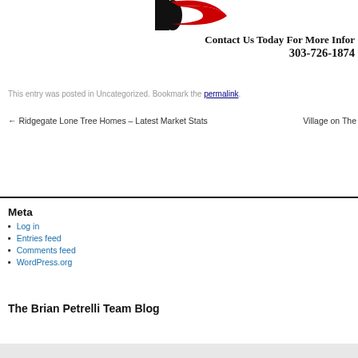[Figure (logo): Partial logo with black letter and red swoosh element, cropped at top]
Contact Us Today For More Info
303-726-1874
This entry was posted in Uncategorized. Bookmark the permalink.
← Ridgegate Lone Tree Homes – Latest Market Stats   Village on The→
Meta
Log in
Entries feed
Comments feed
WordPress.org
The Brian Petrelli Team Blog